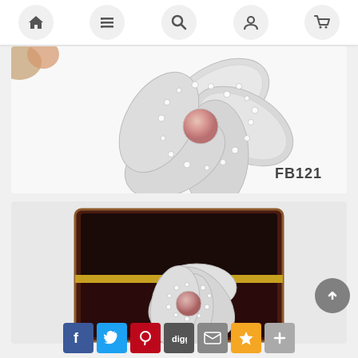[Figure (screenshot): Mobile website navigation bar with home, menu, search, user, and cart icons in circular grey buttons on white background]
[Figure (photo): Silver flower-shaped brooch with pearl center and crystal accents on white background, labeled FB121 in bottom right corner. Partial view of colorful beads in top left corner.]
[Figure (photo): Same silver flower brooch with pink pearl center displayed in a dark red velvet jewelry box with gold trim]
[Figure (infographic): Social sharing buttons row: Facebook (blue), Twitter (light blue), Pinterest (red), Digg (grey), Email (grey), Favorites (yellow/star), Add/More (grey)]